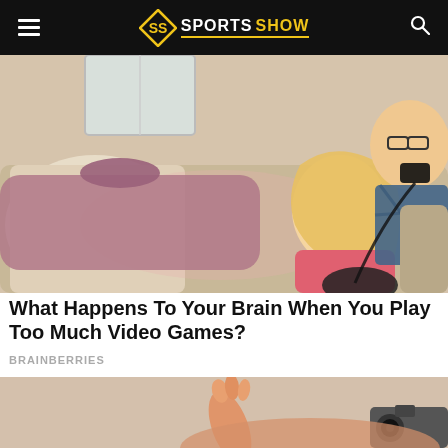SPORTS SHOW
[Figure (photo): A young girl and a bearded man sitting on a couch playing video games with controllers]
What Happens To Your Brain When You Play Too Much Video Games?
BRAINBERRIES
[Figure (photo): A person raising their hand while lying down, with a camera visible at the right edge]